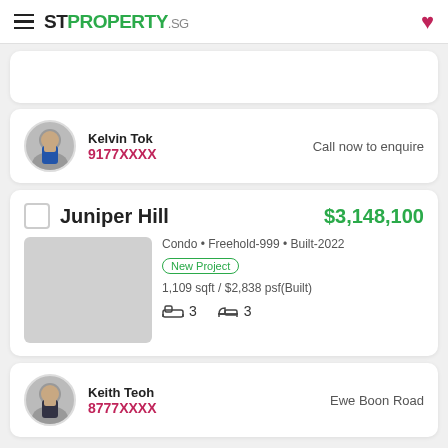STPROPERTY.SG
Kelvin Tok
9177XXXX
Call now to enquire
Juniper Hill
$3,148,100
Condo • Freehold-999 • Built-2022
New Project
1,109 sqft / $2,838 psf(Built)
3  3
Keith Teoh
8777XXXX
Ewe Boon Road